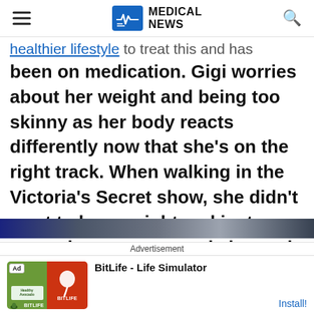MEDICAL NEWS
healthier lifestyle to treat this and has been on medication. Gigi worries about her weight and being too skinny as her body reacts differently now that she's on the right track. When walking in the Victoria's Secret show, she didn't want to lose weight and just wanted to put on muscle instead.
[Figure (photo): Partial image strip visible at the bottom of article content area, appears to be a blurred photo with dark blue tones]
Advertisement
[Figure (screenshot): BitLife - Life Simulator app advertisement banner with green and red app icon tiles and Ad badge]